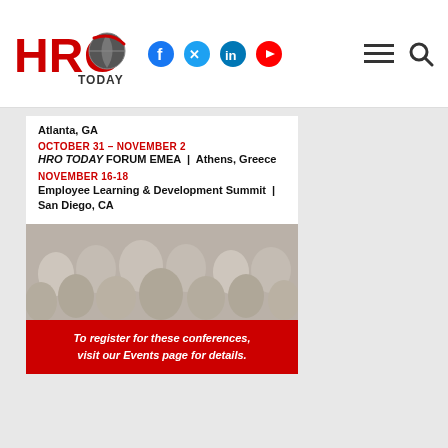HRO TODAY — header with social icons (Facebook, Twitter, LinkedIn, YouTube) and menu/search
Atlanta, GA
OCTOBER 31 – NOVEMBER 2
HRO TODAY FORUM EMEA | Athens, Greece
NOVEMBER 16-18
Employee Learning & Development Summit | San Diego, CA
[Figure (photo): Crowd of people viewed from behind, suggesting a conference audience]
To register for these conferences, visit our Events page for details.